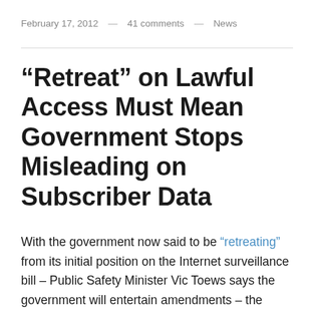February 17, 2012 — 41 comments — News
“Retreat” on Lawful Access Must Mean Government Stops Misleading on Subscriber Data
With the government now said to be “retreating” from its initial position on the Internet surveillance bill – Public Safety Minister Vic Toews says the government will entertain amendments – the starting point should be to stop misleading on the privacy concerns associated with subscriber data.  Concerns about warrantless access to subscriber information such as email and IP addresses have